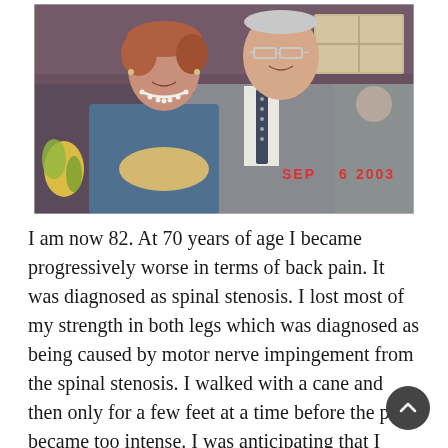[Figure (photo): A photograph of an elderly couple at a restaurant or event, dated SEP 6 2003. A woman with short curly reddish-brown hair wearing a teal top and pearl necklace sits on the left. A tall elderly man in a grey suit and dark patterned tie stands behind her with his arm around her. Both are smiling. There are flowers in the lower left of the photo. A date stamp reads SEP 6 2003 in orange text in the lower right corner.]
I am now 82. At 70 years of age I became progressively worse in terms of back pain. It was diagnosed as spinal stenosis. I lost most of my strength in both legs which was diagnosed as being caused by motor nerve impingement from the spinal stenosis. I walked with a cane and then only for a few feet at a time before the pain became too intense. I was anticipating that I might spend the